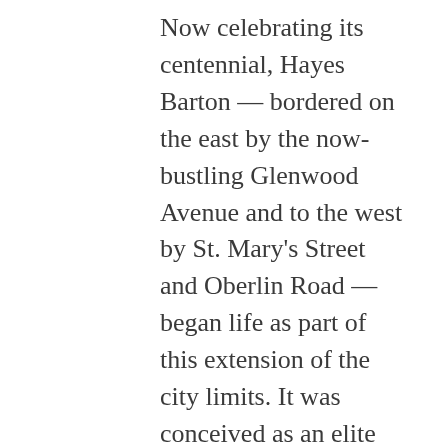Now celebrating its centennial, Hayes Barton — bordered on the east by the now-bustling Glenwood Avenue and to the west by St. Mary's Street and Oberlin Road — began life as part of this extension of the city limits. It was conceived as an elite neighborhood that catered to influential business owners, executives, medical and legal professionals, managers, politicians, and civic and social leaders. When it was annexed in 1920, it was the city's newest subdivision.

What would become Hayes Barton sprouted from a cotton field and a vegetable patch on a prosperous